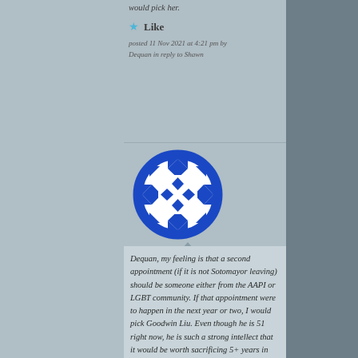would pick her.
Like
posted 11 Nov 2021 at 4:21 pm by Dequan in reply to Shawn
[Figure (illustration): Round avatar icon with blue and white geometric diamond/quilt pattern design]
Dequan, my feeling is that a second appointment (if it is not Sotomayor leaving) should be someone either from the AAPI or LGBT community. If that appointment were to happen in the next year or two, I would pick Goodwin Liu. Even though he is 51 right now, he is such a strong intellect that it would be worth sacrificing 5+ years in age to put him on SCOTUS; Liu is a potential Louis Brandeis, William Douglas, a once in a generation visionary. Deepak Gupta